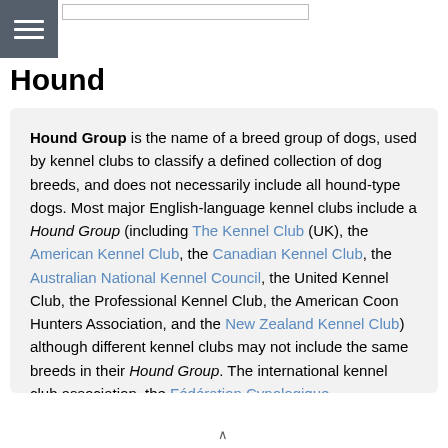Hound
Hound
Hound Group is the name of a breed group of dogs, used by kennel clubs to classify a defined collection of dog breeds, and does not necessarily include all hound-type dogs. Most major English-language kennel clubs include a Hound Group (including The Kennel Club (UK), the American Kennel Club, the Canadian Kennel Club, the Australian National Kennel Council, the United Kennel Club, the Professional Kennel Club, the American Coon Hunters Association, and the New Zealand Kennel Club) although different kennel clubs may not include the same breeds in their Hound Group. The international kennel club association, the Fédération Cynologique Internationale, does not have a Hound Group, and includes